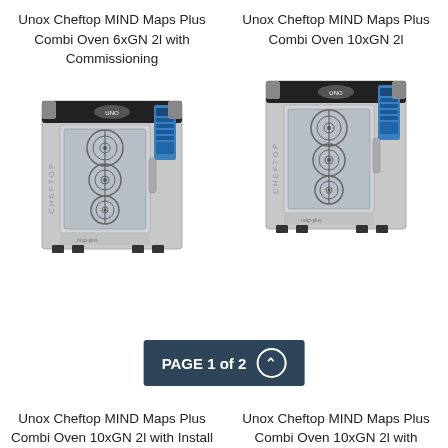Unox Cheftop MIND Maps Plus Combi Oven 6xGN 2l with Commissioning
[Figure (photo): Unox Cheftop MIND Maps Plus Combi Oven 6xGN 2l with Commissioning - front view of stainless steel combi oven with glass door showing circular fan patterns]
Unox Cheftop MIND Maps Plus Combi Oven 10xGN 2l
[Figure (photo): Unox Cheftop MIND Maps Plus Combi Oven 10xGN 2l - front view of stainless steel combi oven with glass door showing circular fan patterns]
Unox Cheftop MIND Maps Plus Combi Oven 10xGN 2l with Install
Unox Cheftop MIND Maps Plus Combi Oven 10xGN 2l with